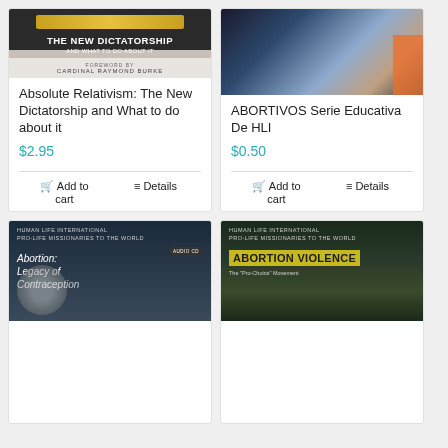[Figure (photo): Book cover: Absolute Relativism: The New Dictatorship and What to do about it, Foreword by Cardinal Raymond Burke]
Absolute Relativism: The New Dictatorship and What to do about it
$2.95
Add to cart
Details
[Figure (photo): Photo of a baby/child]
ABORTIVOS Serie Educativa De HLI
$0.50
Add to cart
Details
[Figure (photo): Book/CD cover: Human Life International Pro-Life Missionaries to the World - Abortion: Legacy of Contraception, Audio CD]
[Figure (photo): Book cover: Human Life International Pro-Life Missionaries to the World - Abortion Violence, The 'Pro-Choice' Movement]